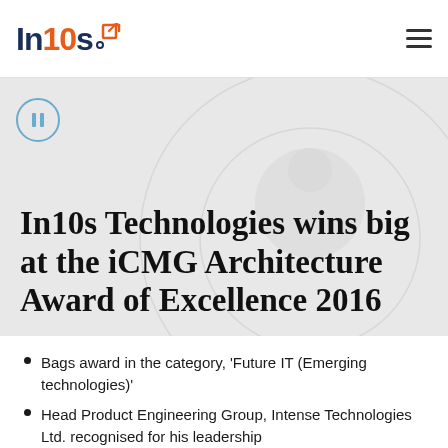In10s Technologies
In10s Technologies wins big at the iCMG Architecture Award of Excellence 2016
Bags award in the category, 'Future IT (Emerging technologies)'
Head Product Engineering Group, Intense Technologies Ltd. recognised for his leadership